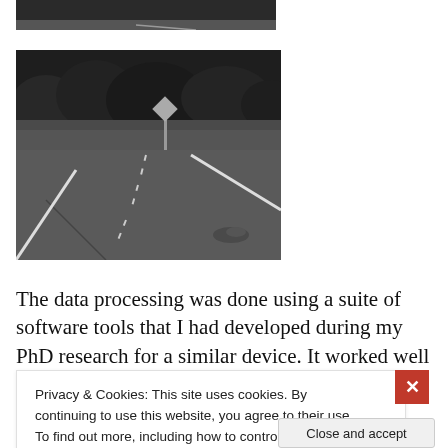[Figure (photo): Partial black-and-white photo of a road scene with trees, cropped at top]
[Figure (photo): Black-and-white photo of a rural road with white lane markings, a road sign, grassy embankment, and trees in the background]
The data processing was done using a suite of software tools that I had developed during my PhD research for a similar device. It worked well but we never finished the
Privacy & Cookies: This site uses cookies. By continuing to use this website, you agree to their use.
To find out more, including how to control cookies, see here: Cookie Policy
Close and accept